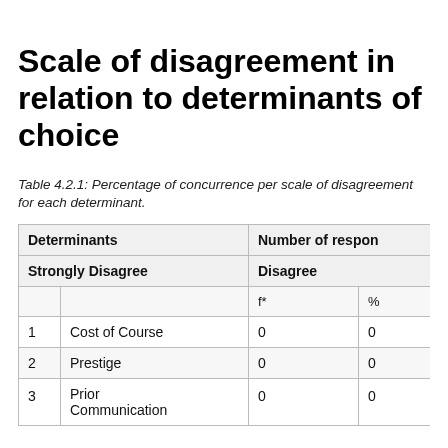Scale of disagreement in relation to determinants of choice
Table 4.2.1: Percentage of concurrence per scale of disagreement for each determinant.
|  | Determinants | Number of respondents (Strongly Disagree) f* | Number of respondents (Strongly Disagree) % | Number of respondents (Disagree) f* | Number of respondents (Disagree) % |
| --- | --- | --- | --- | --- | --- |
| 1 | Cost of Course | 0 | 0 |
| 2 | Prestige | 0 | 0 |
| 3 | Prior Communication | 0 | 0 |